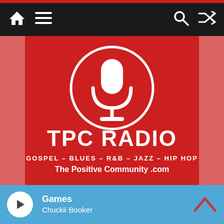TPC Radio app navigation bar with home, menu, search, and shuffle icons
[Figure (logo): TPC Radio logo on red background with white microphone icon in circle. Text: TPC RADIO. GOSPEL – BLUES – R&B – JAZZ – HIP HOP. The Positive Community .com]
Games
Chuckii Booker